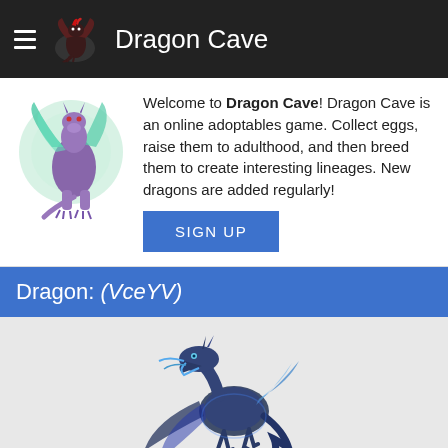Dragon Cave
Welcome to Dragon Cave! Dragon Cave is an online adoptables game. Collect eggs, raise them to adulthood, and then breed them to create interesting lineages. New dragons are added regularly!
Dragon: (VceYV)
[Figure (illustration): Pixel art of a blue/purple dragon sprite for VceYV]
Stolen on: Feb 22, 2015
Hatched on: Feb 26, 2015
Grew up on: Mar 01, 2015